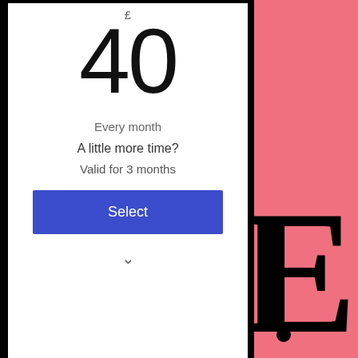£ 40
Every month
A little more time?
Valid for 3 months
Select
ONE MONTH ...
£ 45